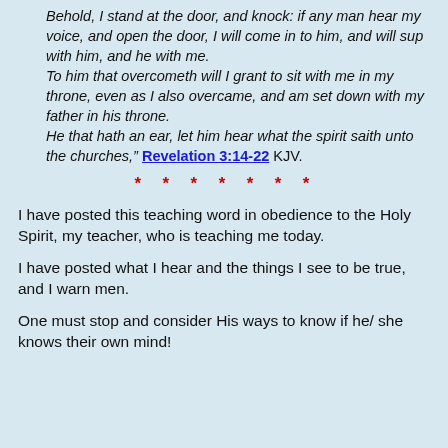Behold, I stand at the door, and knock: if any man hear my voice, and open the door, I will come in to him, and will sup with him, and he with me. To him that overcometh will I grant to sit with me in my throne, even as I also overcame, and am set down with my father in his throne. He that hath an ear, let him hear what the spirit saith unto the churches,” Revelation 3:14-22 KJV.
* * * * * * *
I have posted this teaching word in obedience to the Holy Spirit, my teacher, who is teaching me today.
I have posted what I hear and the things I see to be true, and I warn men.
One must stop and consider His ways to know if he/ she knows their own mind!